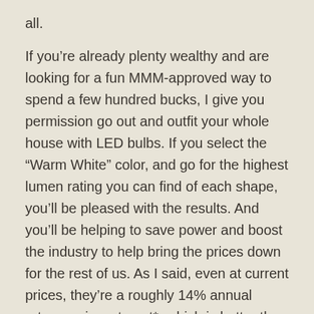all.
If you're already plenty wealthy and are looking for a fun MMM-approved way to spend a few hundred bucks, I give you permission go out and outfit your whole house with LED bulbs. If you select the “Warm White” color, and go for the highest lumen rating you can find of each shape, you'll be pleased with the results. And you'll be helping to save power and boost the industry to help bring the prices down for the rest of us. As I said, even at current prices, they're a roughly 14% annual return on investment*, which is better than a punch in the face.
*assuming a 3-hour per day run time and 10c/kWh electricity. You can then scale your own ROI directly if your numbers are higher or lower. For 6 hours or more per